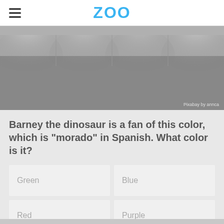ZOO
[Figure (photo): Grayscale photo of ceiling lights/spotlights, with credit 'Pixabay by annca']
Barney the dinosaur is a fan of this color, which is "morado" in Spanish. What color is it?
Green
Blue
Red
Purple